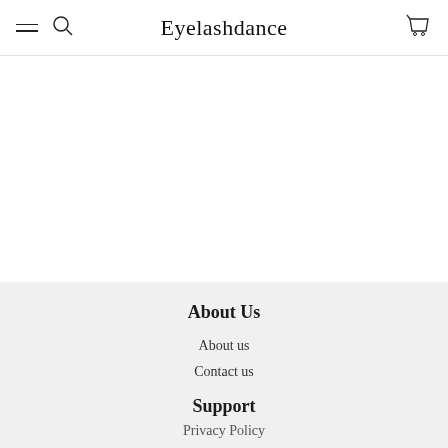Eyelashdance — navigation header with menu, search, logo, and cart icons
About Us
About us
Contact us
Terms of service
Support
Privacy Policy